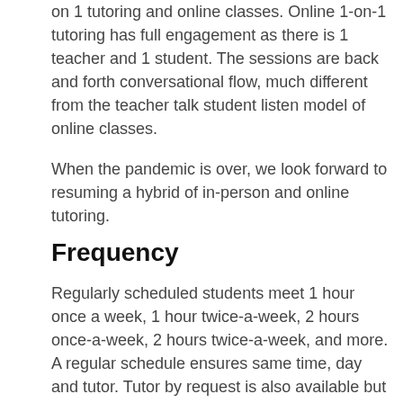on 1 tutoring and online classes. Online 1-on-1 tutoring has full engagement as there is 1 teacher and 1 student. The sessions are back and forth conversational flow, much different from the teacher talk student listen model of online classes.
When the pandemic is over, we look forward to resuming a hybrid of in-person and online tutoring.
Frequency
Regularly scheduled students meet 1 hour once a week, 1 hour twice-a-week, 2 hours once-a-week, 2 hours twice-a-week, and more. A regular schedule ensures same time, day and tutor. Tutor by request is also available but the time, day and tutor will vary.